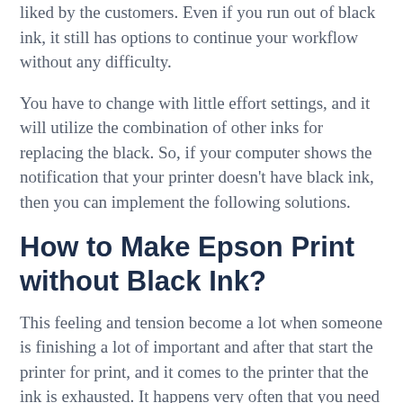liked by the customers. Even if you run out of black ink, it still has options to continue your workflow without any difficulty.
You have to change with little effort settings, and it will utilize the combination of other inks for replacing the black. So, if your computer shows the notification that your printer doesn't have black ink, then you can implement the following solutions.
How to Make Epson Print without Black Ink?
This feeling and tension become a lot when someone is finishing a lot of important and after that start the printer for print, and it comes to the printer that the ink is exhausted. It happens very often that you need your